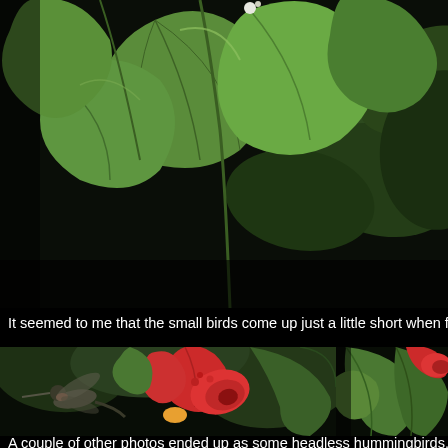[Figure (photo): Close-up photo of green leaves from a trumpet vine or similar plant against a dark/black background. The leaves are large, bright green with prominent veins.]
It seemed to me that the small birds come up just a little short when feeding.
[Figure (photo): A hummingbird hovering near bright red trumpet-shaped flowers (trumpet vine / Campsis radicans) surrounded by green leaves against a dark background. The hummingbird is visible on the left side approaching the flowers.]
[Figure (photo): Partial photo on the right side showing green leaves and a glimpse of red flowers, cropped at the edge of the page.]
A couple of other photos ended up as some headless hummingbirds.